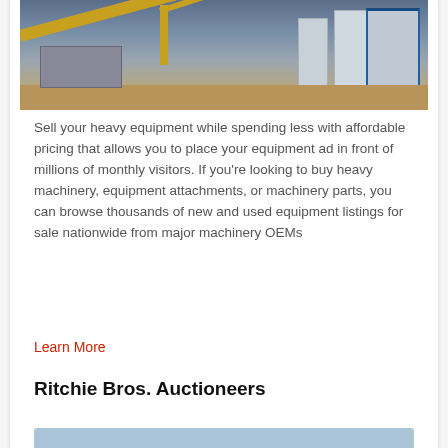[Figure (photo): Industrial heavy machinery site with conveyor belts, silos, a blue-accented building on the right, and construction equipment on a dirt lot under a grey sky.]
Sell your heavy equipment while spending less with affordable pricing that allows you to place your equipment ad in front of millions of monthly visitors. If you're looking to buy heavy machinery, equipment attachments, or machinery parts, you can browse thousands of new and used equipment listings for sale nationwide from major machinery OEMs
Learn More
Ritchie Bros. Auctioneers